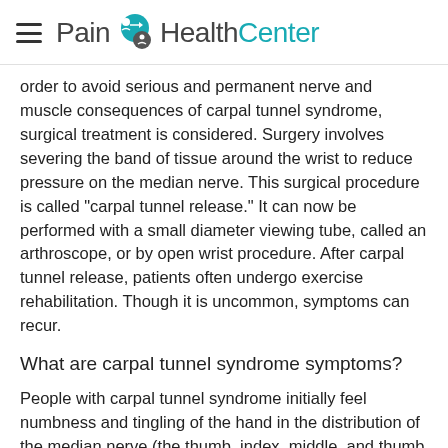Pain HealthCenter
order to avoid serious and permanent nerve and muscle consequences of carpal tunnel syndrome, surgical treatment is considered. Surgery involves severing the band of tissue around the wrist to reduce pressure on the median nerve. This surgical procedure is called "carpal tunnel release." It can now be performed with a small diameter viewing tube, called an arthroscope, or by open wrist procedure. After carpal tunnel release, patients often undergo exercise rehabilitation. Though it is uncommon, symptoms can recur.
What are carpal tunnel syndrome symptoms?
People with carpal tunnel syndrome initially feel numbness and tingling of the hand in the distribution of the median nerve (the thumb, index, middle, and thumb side of the ring fingers). These sensations are